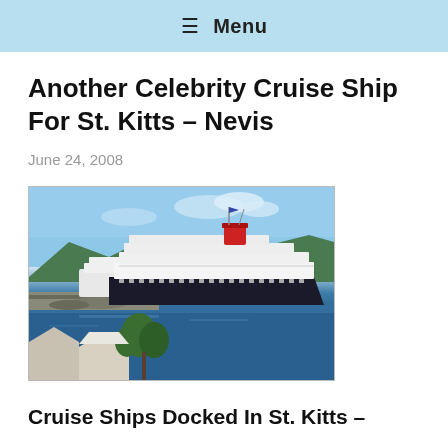≡ Menu
Another Celebrity Cruise Ship For St. Kitts – Nevis
June 24, 2008
[Figure (photo): Cruise ships docked at a port in St. Kitts, with blue water in the foreground and green hills in the background. A large white cruise ship with a red funnel is prominently visible.]
Cruise Ships Docked In St. Kitts –